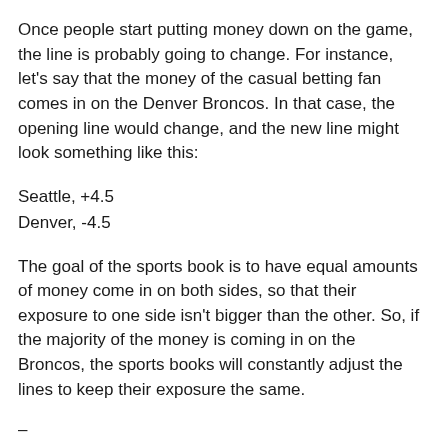Once people start putting money down on the game, the line is probably going to change. For instance, let's say that the money of the casual betting fan comes in on the Denver Broncos. In that case, the opening line would change, and the new line might look something like this:
Seattle, +4.5
Denver, -4.5
The goal of the sports book is to have equal amounts of money come in on both sides, so that their exposure to one side isn't bigger than the other. So, if the majority of the money is coming in on the Broncos, the sports books will constantly adjust the lines to keep their exposure the same.
–
Note: knowledgeable sports fans can take advantage of the